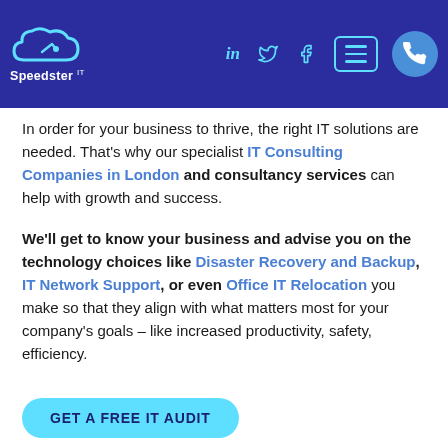Speedster IT — navigation bar with LinkedIn, Twitter, Facebook icons, hamburger menu, phone button
In order for your business to thrive, the right IT solutions are needed. That's why our specialist IT Consulting Companies in London and consultancy services can help with growth and success.
We'll get to know your business and advise you on the technology choices like Disaster Recovery and Backup, IT Network Support, or even Office IT Relocation you make so that they align with what matters most for your company's goals – like increased productivity, safety, efficiency.
GET A FREE IT AUDIT